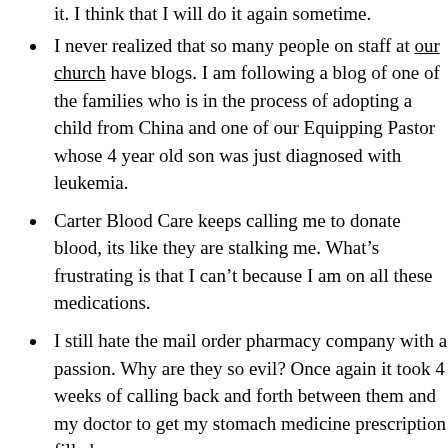it. I think that I will do it again sometime.
I never realized that so many people on staff at our church have blogs. I am following a blog of one of the families who is in the process of adopting a child from China and one of our Equipping Pastor whose 4 year old son was just diagnosed with leukemia.
Carter Blood Care keeps calling me to donate blood, its like they are stalking me. What’s frustrating is that I can’t because I am on all these medications.
I still hate the mail order pharmacy company with a passion. Why are they so evil? Once again it took 4 weeks of calling back and forth between them and my doctor to get my stomach medicine prescription filled.
I have got all the supplies and am currently gathering the scraps I need to start my vermicomposting, exactly as Martha Stewart